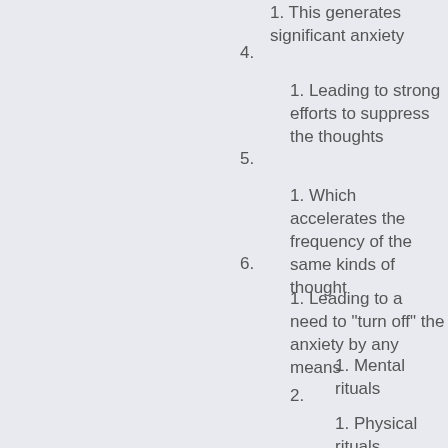1. This generates significant anxiety
4.
1. Leading to strong efforts to suppress the thoughts
5.
1. Which accelerates the frequency of the same kinds of thought
6.
1. Leading to a need to "turn off" the anxiety by any means
1. Mental rituals
2.
1. Physical rituals
3.
1. These rituals are the compulsions
4.